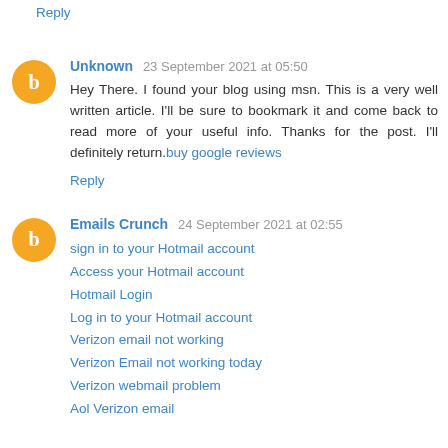Reply
Unknown 23 September 2021 at 05:50
Hey There. I found your blog using msn. This is a very well written article. I'll be sure to bookmark it and come back to read more of your useful info. Thanks for the post. I'll definitely return.buy google reviews
Reply
Emails Crunch 24 September 2021 at 02:55
sign in to your Hotmail account
Access your Hotmail account
Hotmail Login
Log in to your Hotmail account
Verizon email not working
Verizon Email not working today
Verizon webmail problem
Aol Verizon email